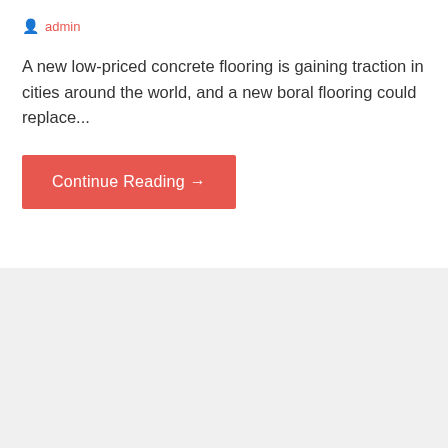admin
A new low-priced concrete flooring is gaining traction in cities around the world, and a new boral flooring could replace...
Continue Reading →
Posted in: Services
Filed under: boral roofing, galvanized roofing